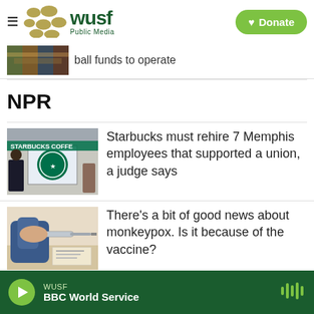WUSF Public Media — Donate
ball funds to operate
NPR
[Figure (photo): Starbucks Coffee storefront with a person in a mask visible]
Starbucks must rehire 7 Memphis employees that supported a union, a judge says
[Figure (photo): Gloved hand administering a vaccine injection]
There's a bit of good news about monkeypox. Is it because of the vaccine?
WUSF — BBC World Service